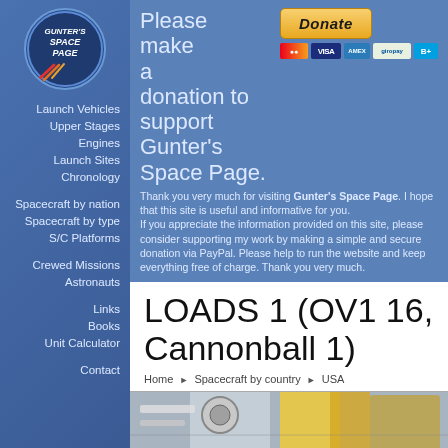[Figure (logo): Gunter's Space Page logo: circular emblem with rocket and text]
Launch Vehicles
Upper Stages
Engines
Launch Sites
Chronology
Spacecraft by nation
Spacecraft by type
S/C Platforms
Crewed Missions
Astronauts
Links
Books
Unit Calculator
Contact
Please make a donation to support Gunter's Space Page.
Thank you very much for visiting Gunter's Space Page. I hope that this site is useful and informative for you. If you appreciate the information provided on this site, please consider supporting my work by making a simple and secure donation via PayPal. Please help to run the website and keep everything free of charge. Thank you very much.
LOADS 1 (OV1 16, Cannonball 1)
Home ► Spacecraft by country ► USA
[Figure (photo): Photo of spacecraft or machinery with yellow equipment visible]